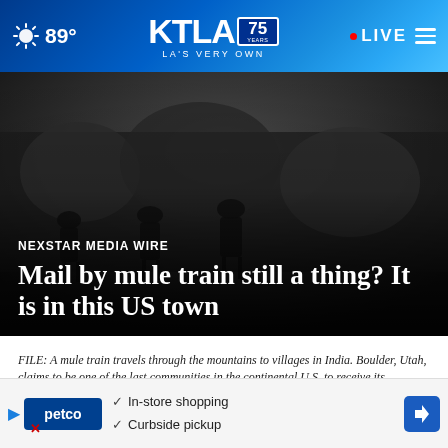89° KTLA 75 YEARS LA'S VERY OWN LIVE
[Figure (photo): Dark background image of mule train silhouettes in mountainous terrain]
NEXSTAR MEDIA WIRE
Mail by mule train still a thing? It is in this US town
FILE: A mule train travels through the mountains to villages in India. Boulder, Utah, claims to be one of the last communities in the continental U.S. to receive its… Read More
by: Cali Jackson, Nexstar Media Wire
Posted
Updated
[Figure (screenshot): Petco advertisement banner with In-store shopping and Curbside pickup options]